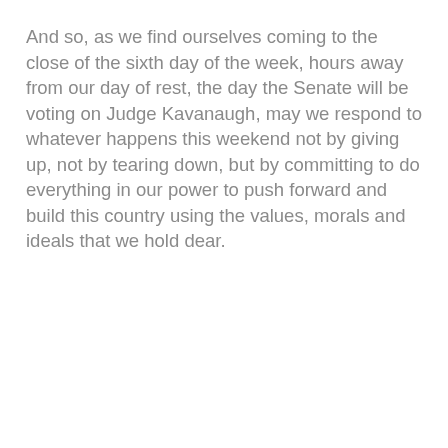And so, as we find ourselves coming to the close of the sixth day of the week, hours away from our day of rest, the day the Senate will be voting on Judge Kavanaugh, may we respond to whatever happens this weekend not by giving up, not by tearing down, but by committing to do everything in our power to push forward and build this country using the values, morals and ideals that we hold dear.